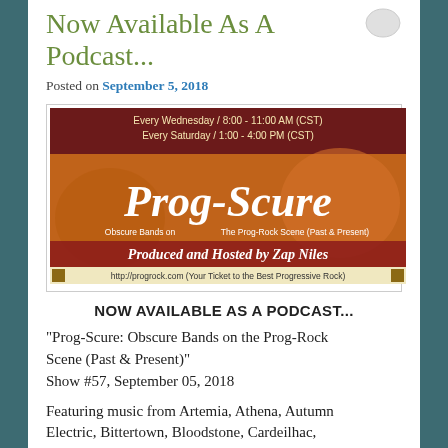Now Available As A Podcast...
Posted on September 5, 2018
[Figure (illustration): Prog-Scure radio show banner. Dark red/maroon header with text: Every Wednesday / 8:00 - 11:00 AM (CST), Every Saturday / 1:00 - 4:00 PM (CST). Large stylized text 'Prog-Scure' over an autumn leaves background. Subtitle: Obscure Bands on The Prog-Rock Scene (Past & Present). Bold text: Produced and Hosted by Zap Niles. Footer bar: http://progrock.com (Your Ticket to the Best Progressive Rock)]
NOW AVAILABLE AS A PODCAST...
"Prog-Scure: Obscure Bands on the Prog-Rock Scene (Past & Present)"
Show #57, September 05, 2018
Featuring music from Artemia, Athena, Autumn Electric, Bittertown, Bloodstone, Cardeilhac, Country Lane, Czar, Déjà-Vu, Demon Thor, Epignosis, The Far Meadow, Ingranaggi Della